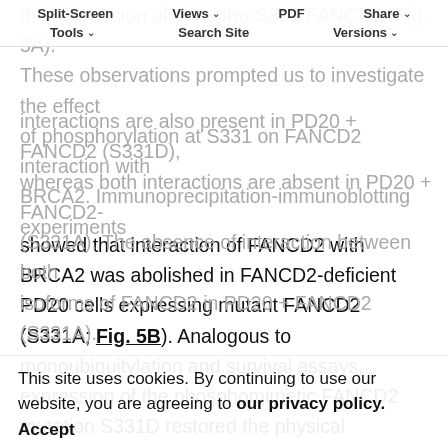Split-Screen | Views | PDF | Share | Tools | Search Site | Versions
showed that interaction of FANCD2 with BRCA2 was abolished in FANCD2-deficient PD20 cells expressing mutant FANCD2 (S331A; Fig. 5B). Analogous to monoubiquitylation and survival assays, expression of the phosphomimetic FANCD2 mutation S331D restored the physical interaction between FANCD2 and BRCA2. When immunoprecipitating with anti-BRCA2 antibody (Fig. 5C), we confirmed that both isoforms of FANCD2 interact in PD20 cells expressing wild-type FANCD2 (16). These
This site uses cookies. By continuing to use our website, you are agreeing to our privacy policy. Accept